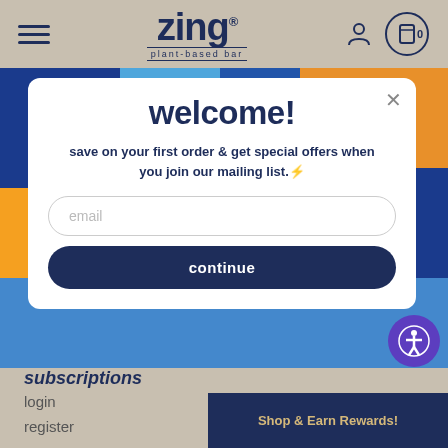zing® plant-based bar
[Figure (screenshot): Zing plant-based bar website screenshot with colorful product collage background and welcome popup modal]
welcome!
save on your first order & get special offers when you join our mailing list.⚡
email
continue
subscriptions
login
register
Shop & Earn Rewards!